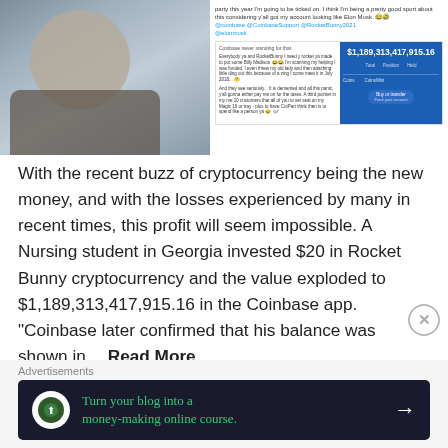[Figure (screenshot): Screenshot showing a social media post with a photo of a young man in a car on the left, and on the right a tweet with text mentioning coinbase, Elon Musk, and a Coinbase app screenshot showing a balance of $1,189,313,417,915.16]
With the recent buzz of cryptocurrency being the new money, and with the losses experienced by many in recent times, this profit will seem impossible. A Nursing student in Georgia invested $20 in Rocket Bunny cryptocurrency and the value exploded to $1,189,313,417,915.16 in the Coinbase app. "Coinbase later confirmed that his balance was shown in… Read More
Advertisements
[Figure (screenshot): Advertisement banner: Turn your blog into a money-making online course.]